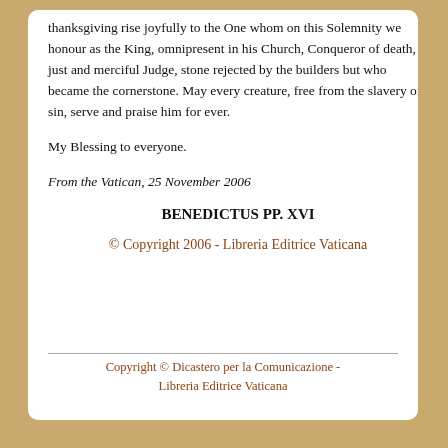thanksgiving rise joyfully to the One whom on this Solemnity we honour as the King, omnipresent in his Church, Conqueror of death, just and merciful Judge, stone rejected by the builders but who became the cornerstone. May every creature, free from the slavery of sin, serve and praise him for ever.
My Blessing to everyone.
From the Vatican, 25 November 2006
BENEDICTUS PP. XVI
© Copyright 2006 - Libreria Editrice Vaticana
Copyright © Dicastero per la Comunicazione - Libreria Editrice Vaticana